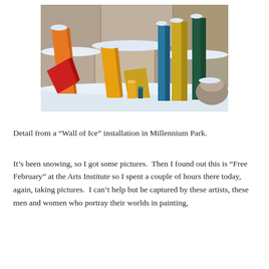[Figure (photo): Close-up photo of colorful sculptural art installation pieces (orange, yellow, green, blue, red) covered in snow, set against a stone wall background. The sculptures are elongated and angular forms.]
Detail from a “Wall of Ice” installation in Millennium Park.
It’s been snowing, so I got some pictures.  Then I found out this is “Free February” at the Arts Institute so I spent a couple of hours there today, again, taking pictures.  I can’t help but be captured by these artists, these men and women who portray their worlds in painting,